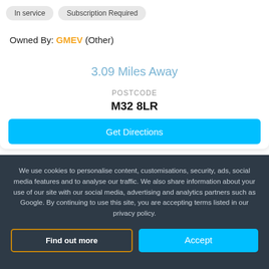In service   Subscription Required
Owned By: GMEV (Other)
3.09 Miles Away
POSTCODE
M32 8LR
Get Directions
We use cookies to personalise content, customisations, security, ads, social media features and to analyse our traffic. We also share information about your use of our site with our social media, advertising and analytics partners such as Google. By continuing to use this site, you are accepting terms listed in our privacy policy.
Find out more
Accept